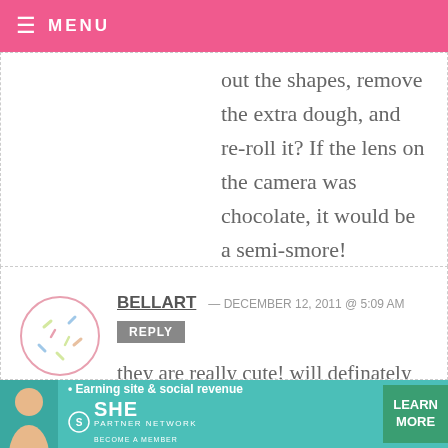≡ MENU
out the shapes, remove the extra dough, and re-roll it? If the lens on the camera was chocolate, it would be a semi-smore!
BELLART — DECEMBER 12, 2011 @ 5:09 AM
REPLY
they are really cute! will definately try the grahm recipe, dont know how well i can decorate it though!
[Figure (illustration): Ad banner for SHE Partner Network - Earning site and social revenue. Features a woman, SHE logo, and a teal Learn More button.]